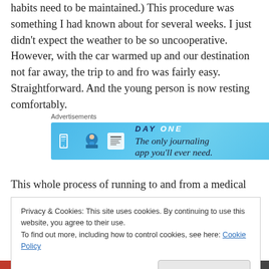habits need to be maintained.) This procedure was something I had known about for several weeks. I just didn't expect the weather to be so uncooperative. However, with the car warmed up and our destination not far away, the trip to and fro was fairly easy. Straightforward. And the young person is now resting comfortably.
[Figure (other): Advertisement banner for Day One journaling app with blue background showing icons and text: 'The only journaling app you'll ever need.']
This whole process of running to and from a medical
Privacy & Cookies: This site uses cookies. By continuing to use this website, you agree to their use.
To find out more, including how to control cookies, see here: Cookie Policy
Close and accept